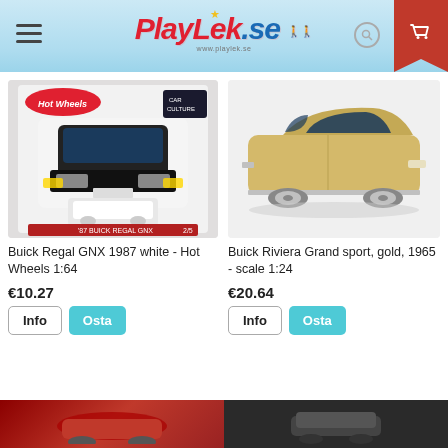PlayLek.se
[Figure (photo): Buick Regal GNX 1987 white Hot Wheels 1:64 toy car in packaging]
Buick Regal GNX 1987 white - Hot Wheels 1:64
€10.27
Info  Osta
[Figure (photo): Buick Riviera Grand sport gold 1965 scale 1:24 die-cast model car]
Buick Riviera Grand sport, gold, 1965 - scale 1:24
€20.64
Info  Osta